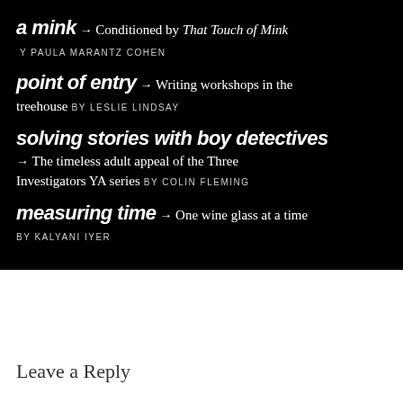a mink → Conditioned by That Touch of Mink
BY PAULA MARANTZ COHEN
point of entry → Writing workshops in the treehouse BY LESLIE LINDSAY
solving stories with boy detectives → The timeless adult appeal of the Three Investigators YA series BY COLIN FLEMING
measuring time → One wine glass at a time BY KALYANI IYER
Leave a Reply